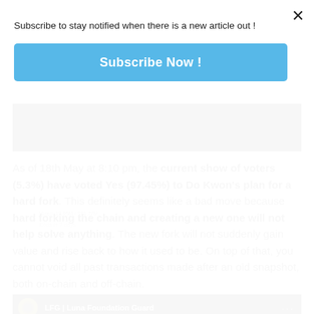Subscribe to stay notified when there is a new article out !
Subscribe Now !
[Figure (screenshot): Dark background screenshot showing voting stats: 'Voted: 13.95M / 378.72M' and 'Ends in 7 days']
As of 18th May at 8:10 pm, the current show of voters (5.3%) have voted Yes (97.45%) to Do Kwon's plan for a hard fork. This definitely seems like a bad move because hard forking the chain and creating a new one will not help solve anything. The new fork will not suddenly gain value and rise back to how it used to be. On top of that, you cannot void all past transactions made after an old snapshot, both on-chain and off-chain.
[Figure (screenshot): Bottom bar showing LFG | Luna Foundation Guard logo and name on dark background]